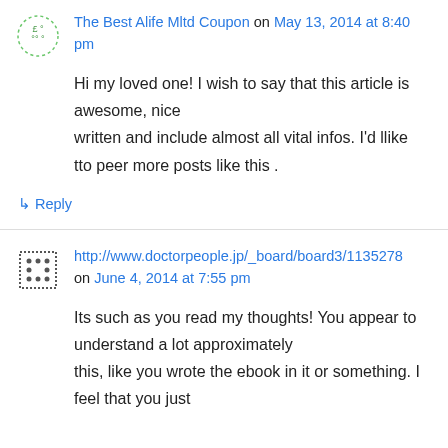The Best Alife Mltd Coupon on May 13, 2014 at 8:40 pm
Hi my loved one! I wish to say that this article is awesome, nice written and include almost all vital infos. I'd llike tto peer more posts like this .
↳ Reply
http://www.doctorpeople.jp/_board/board3/1135278 on June 4, 2014 at 7:55 pm
Its such as you read my thoughts! You appear to understand a lot approximately this, like you wrote the ebook in it or something. I feel that you just